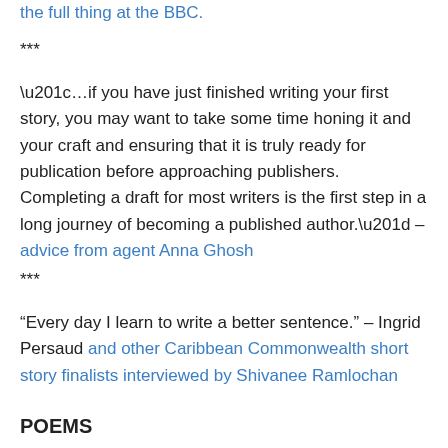the full thing at the BBC.
***
“…if you have just finished writing your first story, you may want to take some time honing it and your craft and ensuring that it is truly ready for publication before approaching publishers. Completing a draft for most writers is the first step in a long journey of becoming a published author.” – advice from agent Anna Ghosh
***
“Every day I learn to write a better sentence.” – Ingrid Persaud and other Caribbean Commonwealth short story finalists interviewed by Shivanee Ramlochan
POEMS